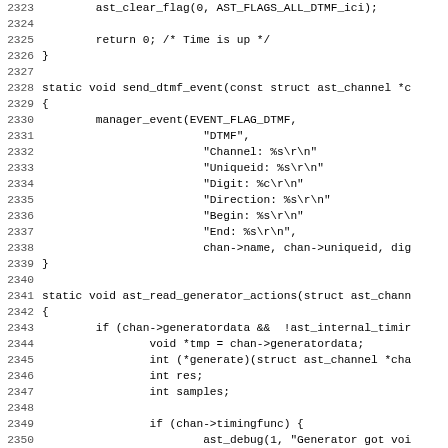[Figure (other): Source code listing in C, lines 2323-2355, showing functions send_dtmf_event and ast_read_generator_actions with line numbers on left margin]